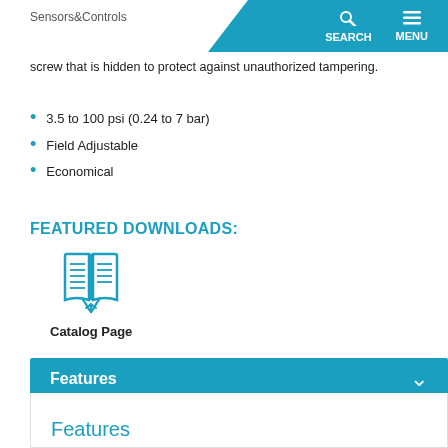Sensors & Controls | SEARCH | MENU
screw that is hidden to protect against unauthorized tampering.
3.5 to 100 psi (0.24 to 7 bar)
Field Adjustable
Economical
FEATURED DOWNLOADS:
[Figure (illustration): Open book with hand/finger icon representing catalog page download]
Catalog Page
[Figure (logo): CE mark, RoHS logo, and CSA certification logos]
Features
Features